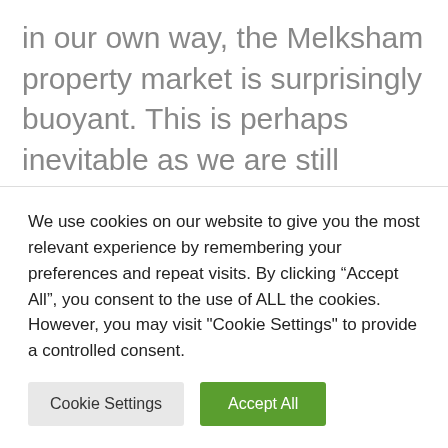in our own way, the Melksham property market is surprisingly buoyant. This is perhaps inevitable as we are still playing catch-up from the restrictions of the first lockdown when sales transaction numbers plunged by around 50%. Transaction levels are still down.

But current market activity remains incredibly high, despite the fact that anyone looking to
We use cookies on our website to give you the most relevant experience by remembering your preferences and repeat visits. By clicking “Accept All”, you consent to the use of ALL the cookies. However, you may visit "Cookie Settings" to provide a controlled consent.